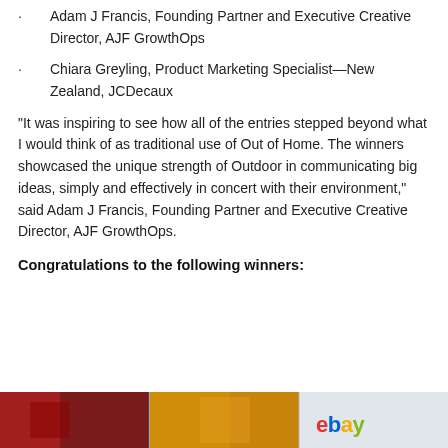Adam J Francis, Founding Partner and Executive Creative Director, AJF GrowthOps
Chiara Greyling, Product Marketing Specialist—New Zealand, JCDecaux
“It was inspiring to see how all of the entries stepped beyond what I would think of as traditional use of Out of Home. The winners showcased the unique strength of Outdoor in communicating big ideas, simply and effectively in concert with their environment,” said Adam J Francis, Founding Partner and Executive Creative Director, AJF GrowthOps.
Congratulations to the following winners:
[Figure (photo): A horizontal strip of photos at the bottom of the page showing colorful outdoor advertising images, including what appears to be an eBay advertisement.]